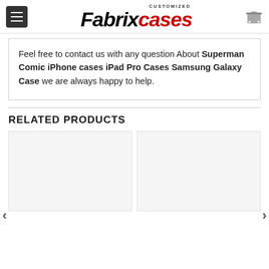Fabrix cases — CUSTOMIZED
Feel free to contact us with any question About Superman Comic iPhone cases iPad Pro Cases Samsung Galaxy Case we are always happy to help.
RELATED PRODUCTS
[Figure (photo): Two product card placeholders (light gray boxes) for related products, with left and right navigation arrows.]